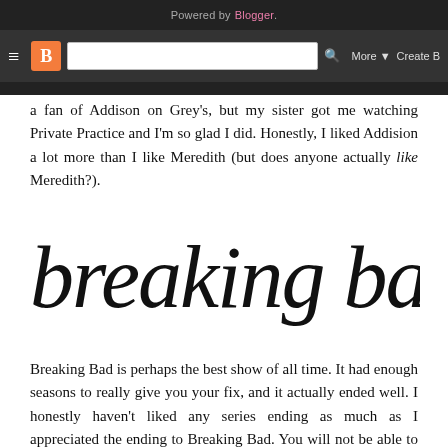Powered by Blogger.
a fan of Addison on Grey's, but my sister got me watching Private Practice and I'm so glad I did. Honestly, I liked Addision a lot more than I like Meredith (but does anyone actually like Meredith?).
[Figure (illustration): Handwritten cursive script logo reading 'breaking bad' in black ink on white background]
Breaking Bad is perhaps the best show of all time. It had enough seasons to really give you your fix, and it actually ended well. I honestly haven't liked any series ending as much as I appreciated the ending to Breaking Bad. You will not be able to stop watching this show.